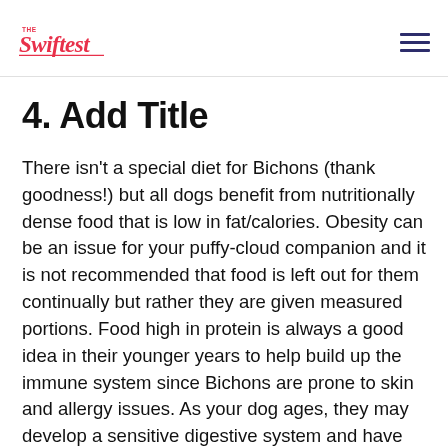The Swiftest
4. Add Title
There isn't a special diet for Bichons (thank goodness!) but all dogs benefit from nutritionally dense food that is low in fat/calories. Obesity can be an issue for your puffy-cloud companion and it is not recommended that food is left out for them continually but rather they are given measured portions. Food high in protein is always a good idea in their younger years to help build up the immune system since Bichons are prone to skin and allergy issues. As your dog ages, they may develop a sensitive digestive system and have trouble processing protein so a special diet may be required once they become seniors.